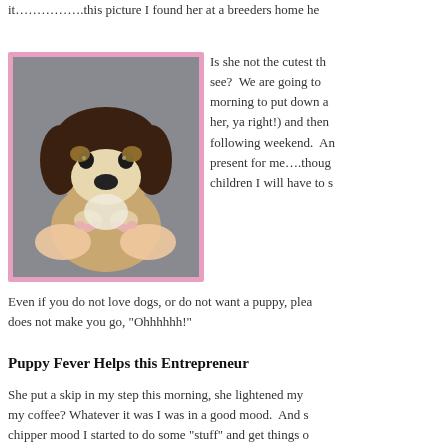it…………….this picture I found her at a breeders home he
[Figure (photo): A beagle puppy being held up by a person's hands, shown against a grey background, framed in a pink border.]
Is she not the cutest th see?  We are going to morning to put down a her, ya right!) and then following weekend.  An present for me….thoug children I will have to s
Even if you do not love dogs, or do not want a puppy, plea does not make you go, "Ohhhhhh!"
Puppy Fever Helps this Entrepreneur
She put a skip in my step this morning, she lightened my my coffee? Whatever it was I was in a good mood.  And s chipper mood I started to do some "stuff" and get things o to-do list.  I sent out licensing proposals, I worked on my going, no distractions.  And oh I did keep taking a gander pie as I worked.